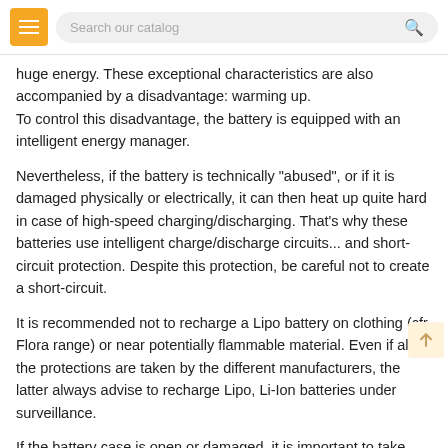Search our catalog
huge energy. These exceptional characteristics are also accompanied by a disadvantage: warming up.
To control this disadvantage, the battery is equipped with an intelligent energy manager.
Nevertheless, if the battery is technically "abused", or if it is damaged physically or electrically, it can then heat up quite hard in case of high-speed charging/discharging. That's why these batteries use intelligent charge/discharge circuits... and short-circuit protection. Despite this protection, be careful not to create a short-circuit.
It is recommended not to recharge a Lipo battery on clothing (cfr Flora range) or near potentially flammable material. Even if all the protections are taken by the different manufacturers, the latter always advise to recharge Lipo, Li-Ion batteries under surveillance.
If the battery case is open or damaged, it is important to take special measures (inspection, re-packaging, stop using).
Here is a video showing what can happen to a Lipo battery when it is overloaded (in this video the destruction was the target result and